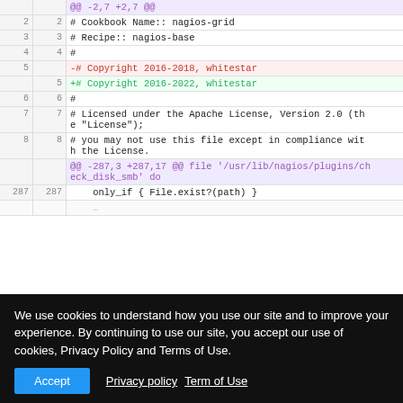[Figure (screenshot): A code diff view showing changes to a Chef cookbook file (nagios-grid, nagios-base recipe). Lines 2-8 show context lines with Cookbook Name, Recipe, copyright and license text. A hunk header shows @@ -287,3 +287,17 @@ file '/usr/lib/nagios/plugins/check_disk_smb' do. Line 287 shows only_if { File.exist?(path) }. The deleted line 5 shows '-# Copyright 2016-2018, whitestar' in red. The added line 5 shows '+# Copyright 2016-2022, whitestar' in green. A cookie consent banner overlays the bottom of the page.]
We use cookies to understand how you use our site and to improve your experience. By continuing to use our site, you accept our use of cookies, Privacy Policy and Terms of Use.